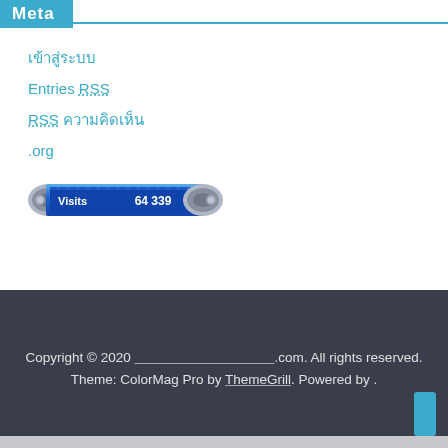Meta
เข้าสู่ระบบ
Entries RSS
RSS ความคิดเห็น
.org
[Figure (other): Visit counter widget showing 'Visits 64 339' on a blue metallic display]
Copyright © 2020 .com. All rights reserved. Theme: ColorMag Pro by ThemeGrill. Powered by .